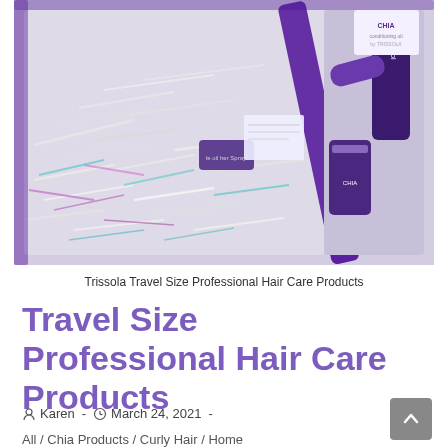[Figure (photo): A transparent/clear travel bag with purple trim filled with Trissola hair care products in travel sizes, surrounded by shredded iridescent gift paper. Several dark purple product containers and a CHIA product are visible.]
Trissola Travel Size Professional Hair Care Products
Travel Size Professional Hair Care Products
Karen · March 24, 2021 ·
All / Chia Products / Curly Hair / Home